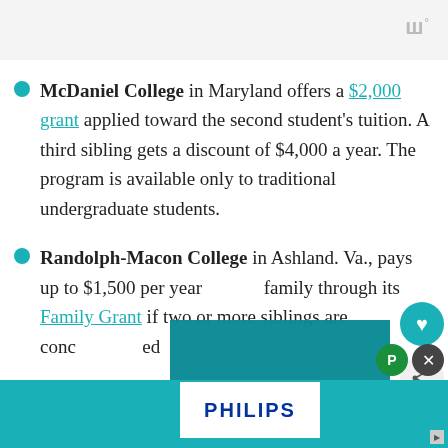McDaniel College in Maryland offers a $2,000 grant applied toward the second student's tuition. A third sibling gets a discount of $4,000 a year. The program is available only to traditional undergraduate students.
Randolph-Macon College in Ashland. Va., pays up to $1,500 per year family through its Family Grant if two or more siblings are conc[...] ed
[Figure (logo): Philips logo advertisement banner at the bottom of the page]